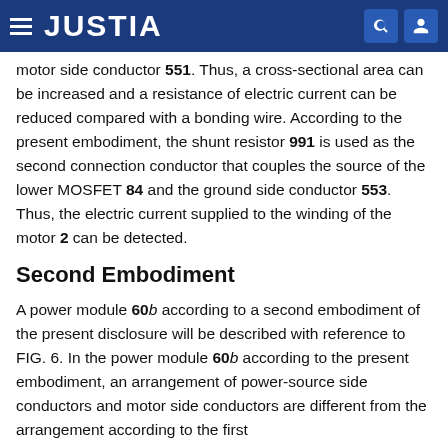JUSTIA
motor side conductor 551. Thus, a cross-sectional area can be increased and a resistance of electric current can be reduced compared with a bonding wire. According to the present embodiment, the shunt resistor 991 is used as the second connection conductor that couples the source of the lower MOSFET 84 and the ground side conductor 553. Thus, the electric current supplied to the winding of the motor 2 can be detected.
Second Embodiment
A power module 60b according to a second embodiment of the present disclosure will be described with reference to FIG. 6. In the power module 60b according to the present embodiment, an arrangement of power-source side conductors and motor side conductors are different from the arrangement according to the first